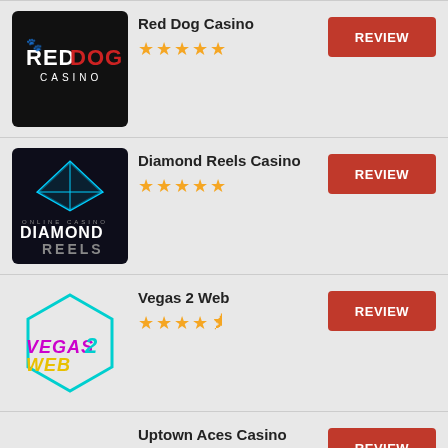[Figure (logo): Red Dog Casino logo - black background with RED DOG CASINO text in white and red]
Red Dog Casino
★★★★★ (5 stars)
[Figure (logo): Diamond Reels Casino logo - black background with diamond graphic and DIAMOND REELS text]
Diamond Reels Casino
★★★★★ (5 stars)
[Figure (logo): Vegas 2 Web logo - cyan hexagon outline with colorful Vegas2Web text]
Vegas 2 Web
★★★★½ (4.5 stars)
Uptown Aces Casino
★★★★☆ (4 stars)